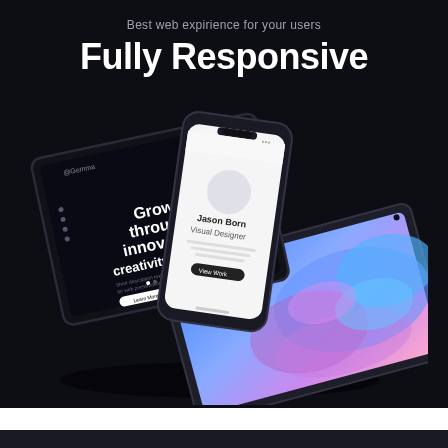Best web expirience for your users
Fully Responsive
[Figure (photo): Three devices (tablet, smartphone, and another tablet/device) arranged in an overlapping diagonal composition against a dark background. The devices display various screens including a dark website with text 'Grow through innovation creativity.' and a white screen showing 'Jason Born Visual Designer', plus a tablet showing a colorful blue/pink fluid art wallpaper.]